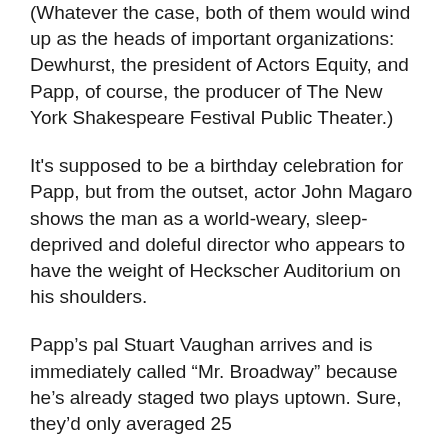(Whatever the case, both of them would wind up as the heads of important organizations: Dewhurst, the president of Actors Equity, and Papp, of course, the producer of The New York Shakespeare Festival Public Theater.)
It's supposed to be a birthday celebration for Papp, but from the outset, actor John Magaro shows the man as a world-weary, sleep-deprived and doleful director who appears to have the weight of Heckscher Auditorium on his shoulders.
Papp's pal Stuart Vaughan arrives and is immediately called “Mr. Broadway” because he’s already staged two plays uptown. Sure, they’d only averaged 25
performances, but Vaughan was still flying substantially higher than Papp. That's why he offers Vaughan the reins to the Festival and the chance to